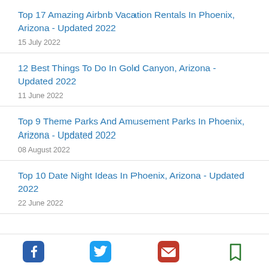Top 17 Amazing Airbnb Vacation Rentals In Phoenix, Arizona - Updated 2022
15 July 2022
12 Best Things To Do In Gold Canyon, Arizona - Updated 2022
11 June 2022
Top 9 Theme Parks And Amusement Parks In Phoenix, Arizona - Updated 2022
08 August 2022
Top 10 Date Night Ideas In Phoenix, Arizona - Updated 2022
22 June 2022
Social share bar: Facebook, Twitter, Email, Bookmark